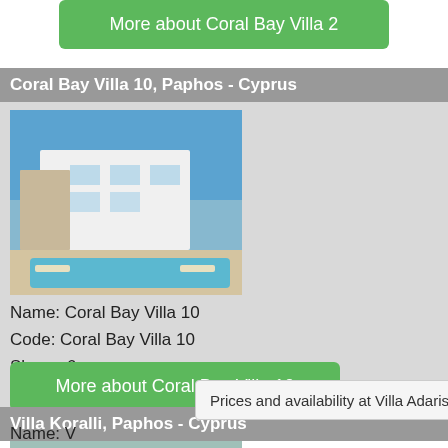[Figure (other): Green button: More about Coral Bay Villa 2]
Coral Bay Villa 10, Paphos - Cyprus
[Figure (photo): Photo of Coral Bay Villa 10 showing modern white villa with pool]
Name: Coral Bay Villa 10
Code: Coral Bay Villa 10
Sleeps:6
Area: Paphos - Cyprus
[Figure (other): Green button: More about Coral Bay Villa 10]
Villa Koralli, Paphos - Cyprus
[Figure (photo): Photo of Villa Koralli showing villa with pool and sun loungers]
Name: V
Prices and availability at Villa Adaris >